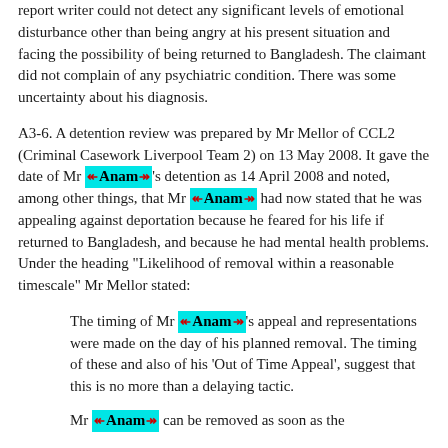report writer could not detect any significant levels of emotional disturbance other than being angry at his present situation and facing the possibility of being returned to Bangladesh. The claimant did not complain of any psychiatric condition. There was some uncertainty about his diagnosis.
A3-6. A detention review was prepared by Mr Mellor of CCL2 (Criminal Casework Liverpool Team 2) on 13 May 2008. It gave the date of Mr [Anam]'s detention as 14 April 2008 and noted, among other things, that Mr [Anam] had now stated that he was appealing against deportation because he feared for his life if returned to Bangladesh, and because he had mental health problems. Under the heading "Likelihood of removal within a reasonable timescale" Mr Mellor stated:
The timing of Mr [Anam]'s appeal and representations were made on the day of his planned removal. The timing of these and also of his 'Out of Time Appeal', suggest that this is no more than a delaying tactic.
Mr [Anam] can be removed as soon as the